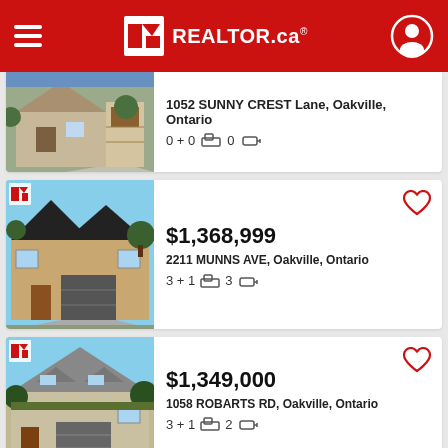REALTOR.ca
1052 SUNNY CREST Lane, Oakville, Ontario — 0+0 beds, 0 baths
$1,368,999 — 2211 MUNNS AVE, Oakville, Ontario — 3+1 beds, 3 baths
$1,349,000 — 1058 ROBARTS RD, Oakville, Ontario — 3+1 beds, 2 baths